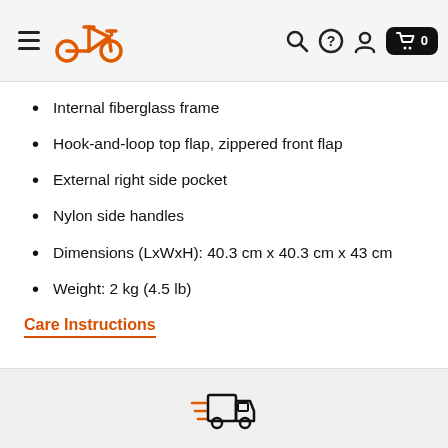Navigation header with bicycle logo, search, help, account, and cart icons
Internal fiberglass frame
Hook-and-loop top flap, zippered front flap
External right side pocket
Nylon side handles
Dimensions (LxWxH): 40.3 cm x 40.3 cm x 43 cm
Weight: 2 kg (4.5 lb)
Care Instructions
[Figure (illustration): Orange delivery truck icon with speed lines, shown in the footer area]